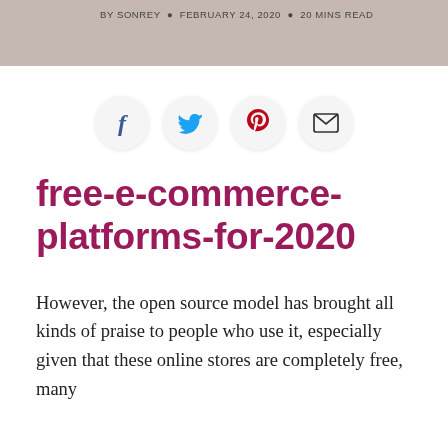BY SONREY  •  FEBRUARY 24, 2020  •  20 MINS READ
[Figure (other): Social share icons row: Facebook (f), Twitter bird, Pinterest (P), Email envelope — each in a light circular button]
free-e-commerce-platforms-for-2020
However, the open source model has brought all kinds of praise to people who use it, especially given that these online stores are completely free, many